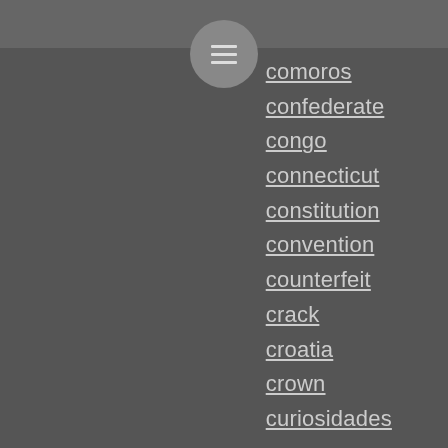[Figure (other): Menu hamburger icon inside a circular button on a gray top bar]
comoros
confederate
congo
connecticut
constitution
convention
counterfeit
crack
croatia
crown
curiosidades
cyprus
czechoslovakia
dahomey
date